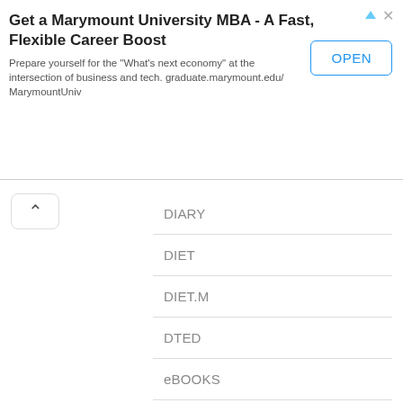[Figure (infographic): Advertisement banner for Marymount University MBA. Title: 'Get a Marymount University MBA - A Fast, Flexible Career Boost'. Body text: 'Prepare yourself for the "What's next economy" at the intersection of business and tech. graduate.marymount.edu/MaryrymountUniv'. An OPEN button and close/navigate icons are shown.]
DIARY
DIET
DIET.M
DTED
eBOOKS
ELECTION
EMPLOY
Ennum Ezhuthum
EXAM
EXAM TIME TABLE